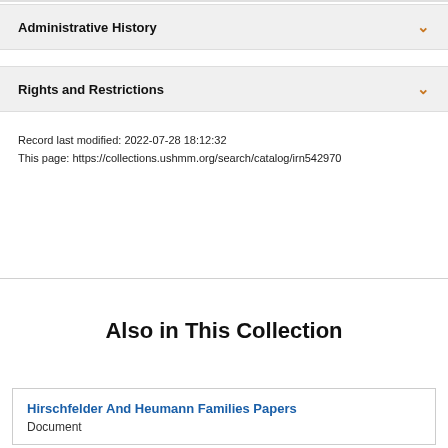Administrative History
Rights and Restrictions
Record last modified: 2022-07-28 18:12:32
This page: https://collections.ushmm.org/search/catalog/irn542970
Also in This Collection
Hirschfelder And Heumann Families Papers
Document